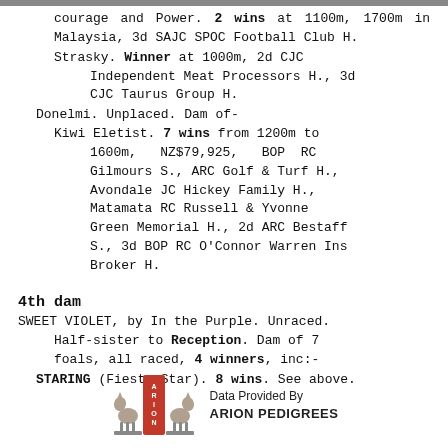courage and Power. 2 wins at 1100m, 1700m in Malaysia, 3d SAJC SPOC Football Club H.
Strasky. Winner at 1000m, 2d CJC Independent Meat Processors H., 3d CJC Taurus Group H.
Donelmi. Unplaced. Dam of- Kiwi Eletist. 7 wins from 1200m to 1600m, NZ$79,925, BOP RC Gilmours S., ARC Golf & Turf H., Avondale JC Hickey Family H., Matamata RC Russell & Yvonne Green Memorial H., 2d ARC Bestaff S., 3d BOP RC O'Connor Warren Ins Broker H.
4th dam
SWEET VIOLET, by In the Purple. Unraced. Half-sister to Reception. Dam of 7 foals, all raced, 4 winners, inc:-
STARING (Fiesta Star). 8 wins. See above.
[Figure (logo): Arion Pedigrees logo with horse bookends and red spine, with text 'Data Provided By ARION PEDIGREES']